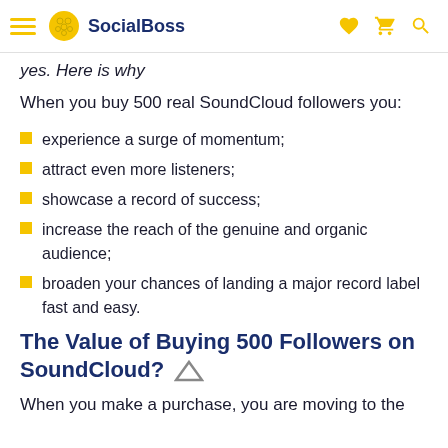SocialBoss
yes. Here is why
When you buy 500 real SoundCloud followers you:
experience a surge of momentum;
attract even more listeners;
showcase a record of success;
increase the reach of the genuine and organic audience;
broaden your chances of landing a major record label fast and easy.
The Value of Buying 500 Followers on SoundCloud?
When you make a purchase, you are moving to the